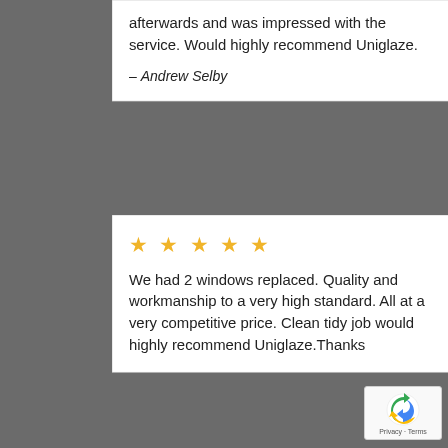afterwards and was impressed with the service. Would highly recommend Uniglaze.
– Andrew Selby
[Figure (other): Five gold star rating icons]
We had 2 windows replaced. Quality and workmanship to a very high standard. All at a very competitive price. Clean tidy job would highly recommend Uniglaze.Thanks